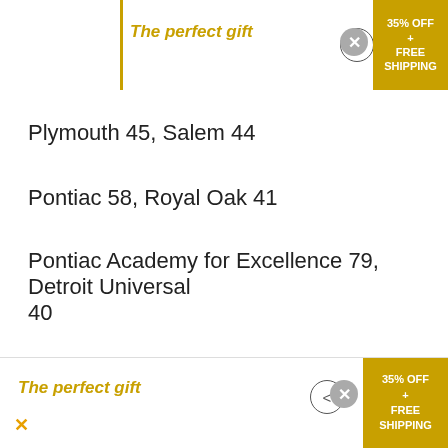[Figure (infographic): Top advertisement banner with 'The perfect gift' text in gold italic, navigation arrows, and '35% OFF + FREE SHIPPING' gold promo box]
Plymouth 45, Salem 44
Pontiac 58, Royal Oak 41
Pontiac Academy for Excellence 79, Detroit Universal 40
[Figure (infographic): Bottom advertisement banner with 'The perfect gift' text in gold italic, navigation arrows, and '35% OFF + FREE SHIPPING' gold promo box]